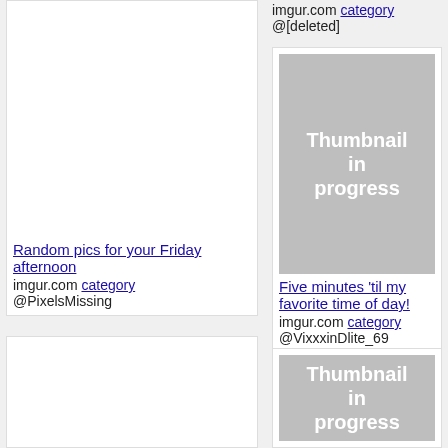[Figure (screenshot): White blank image area for left card 1]
Random pics for your Friday afternoon
imgur.com category @PixelsMissing
[Figure (screenshot): White blank image area for left card 2]
imgur.com category @[deleted]
[Figure (screenshot): Thumbnail in progress placeholder for right card 1]
Five minutes 'til my favorite time of day!
imgur.com category @VixxxinDlite_69
[Figure (screenshot): Thumbnail in progress placeholder for right card 2]